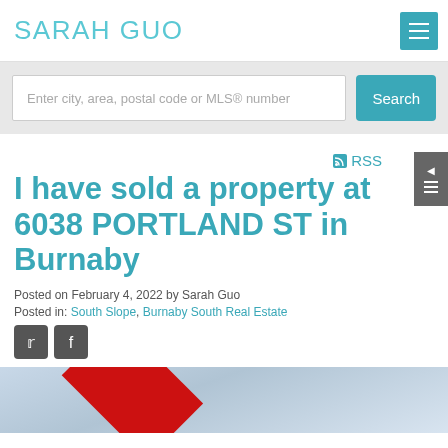SARAH GUO
Enter city, area, postal code or MLS® number
Search
RSS
I have sold a property at 6038 PORTLAND ST in Burnaby
Posted on February 4, 2022 by Sarah Guo
Posted in: South Slope, Burnaby South Real Estate
[Figure (photo): Property photo with sold ribbon overlay, sky background]